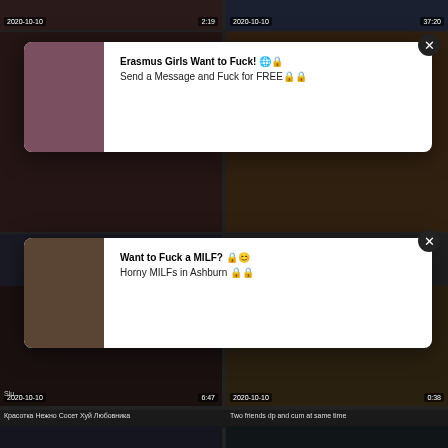[Figure (screenshot): Adult video thumbnail grid with two ad popups overlaid. Top row shows two video thumbnails dated 2020-10-10 with durations 2:19 and 37:20. Middle section has two overlapping ad popups. Bottom section shows two video thumbnails dated 2020-10-10 with durations 6:47 and 0:38. Titles: Красотка Нежно Сосет Хуй Любовника and Two friends dp and cum at same time. Bottom row shows two more video thumbnails partially visible.]